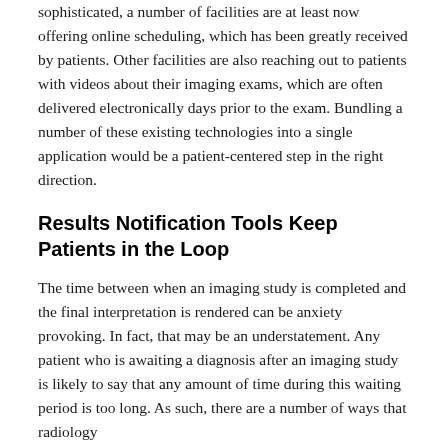sophisticated, a number of facilities are at least now offering online scheduling, which has been greatly received by patients. Other facilities are also reaching out to patients with videos about their imaging exams, which are often delivered electronically days prior to the exam. Bundling a number of these existing technologies into a single application would be a patient-centered step in the right direction.
Results Notification Tools Keep Patients in the Loop
The time between when an imaging study is completed and the final interpretation is rendered can be anxiety provoking. In fact, that may be an understatement. Any patient who is awaiting a diagnosis after an imaging study is likely to say that any amount of time during this waiting period is too long. As such, there are a number of ways that radiology